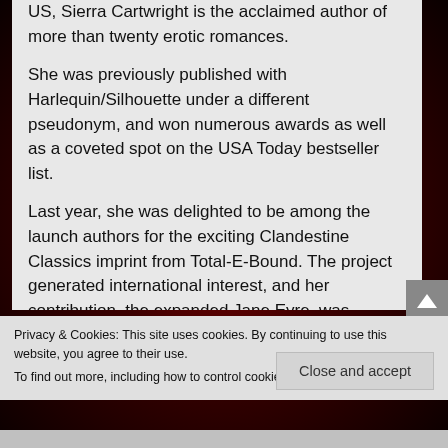US, Sierra Cartwright is the acclaimed author of more than twenty erotic romances.
She was previously published with Harlequin/Silhouette under a different pseudonym, and won numerous awards as well as a coveted spot on the USA Today bestseller list.
Last year, she was delighted to be among the launch authors for the exciting Clandestine Classics imprint from Total-E-Bound. The project generated international interest, and her contribution, the expanded Jane Eyre, was
Privacy & Cookies: This site uses cookies. By continuing to use this website, you agree to their use.
To find out more, including how to control cookies, see here: Cookie Policy